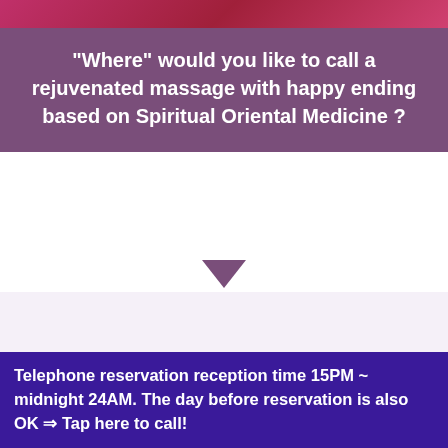[Figure (photo): Top cropped image strip with pink/red tones]
"Where" would you like to call a rejuvenated massage with happy ending based on Spiritual Oriental Medicine ?
❶  Name of hotel you stay  ➜  FOR EXAMPLE : Shinagawa Prince Hotel / ❷  Name of district of Tokyo  ➜  FOR EXAMPLE : MINATO WARD
Telephone reservation reception time 15PM ~ midnight 24AM. The day before reservation is also OK ⇒ Tap here to call!